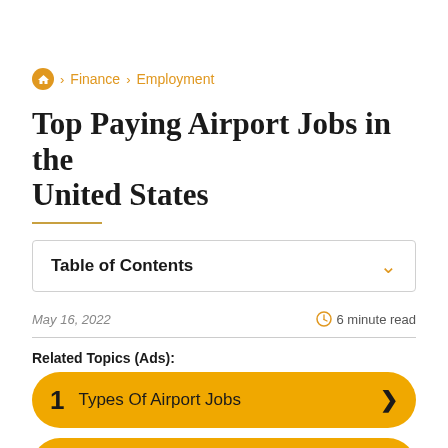Home > Finance > Employment
Top Paying Airport Jobs in the United States
Table of Contents
May 16, 2022   6 minute read
Related Topics (Ads):
1 Types Of Airport Jobs
2 Benefits Of Working In The Airport Industry